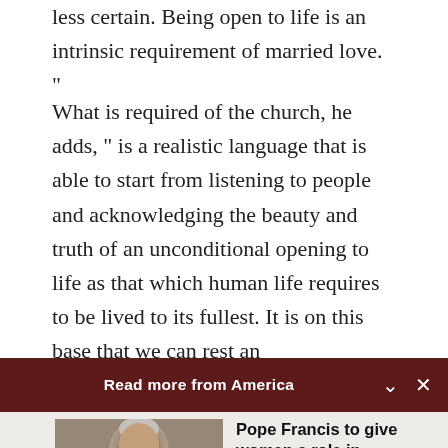less certain. Being open to life is an intrinsic requirement of married love.”
What is required of the church, he adds, “is a realistic language that is able to start from listening to people and acknowledging the beauty and truth of an unconditional opening to life as that which human life requires to be lived to its fullest. It is on this base that we can rest an
Read more from America
[Figure (photo): Photo of Pope Francis in white papal vestments, seated, with hand raised]
Pope Francis to give women a role in choosing...
Cindy Wooden - Catholic News Service